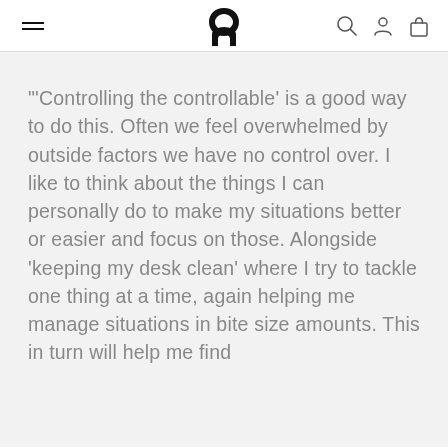On Running logo and navigation bar with hamburger menu, search, account, and bag icons
"'Controlling the controllable' is a good way to do this. Often we feel overwhelmed by outside factors we have no control over. I like to think about the things I can personally do to make my situations better or easier and focus on those. Alongside 'keeping my desk clean' where I try to tackle one thing at a time, again helping me manage situations in bite size amounts. This in turn will help me find